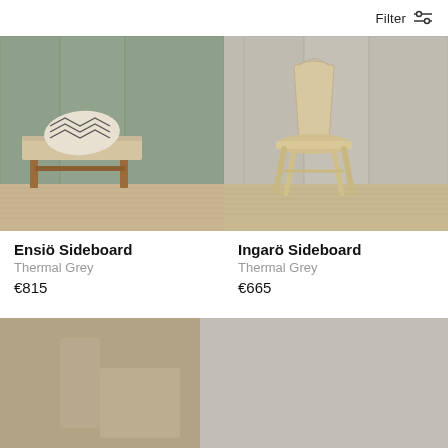Filter
[Figure (photo): Bench with chevron pillow in grey-green cabinet room interior]
Ensiö Sideboard
Thermal Grey
€815
[Figure (photo): Light wood chair against grey cabinet wall interior]
Ingarö Sideboard
Thermal Grey
€665
[Figure (photo): Design your own sideboard banner image with blurred furniture background]
Design your own sideboard